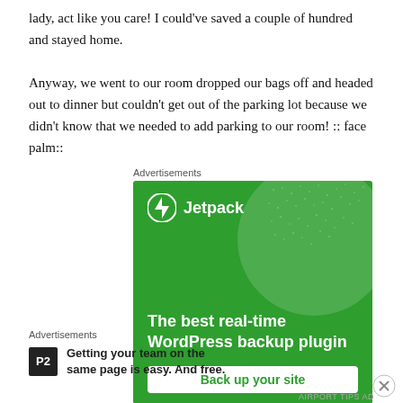lady, act like you care! I could've saved a couple of hundred and stayed home. Anyway, we went to our room dropped our bags off and headed out to dinner but couldn't get out of the parking lot because we didn't know that we needed to add parking to our room! :: face palm::
[Figure (infographic): Jetpack advertisement banner with green background showing logo, tagline 'The best real-time WordPress backup plugin' and 'Back up your site' button]
[Figure (infographic): P2 advertisement with logo and text 'Getting your team on the same page is easy. And free.']
AIRPORT TIPS AD